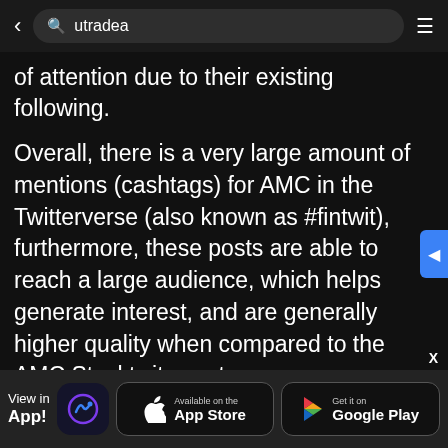utradea
of attention due to their existing following.
Overall, there is a very large amount of mentions (cashtags) for AMC in the Twitterverse (also known as #fintwit), furthermore, these posts are able to reach a large audience, which helps generate interest, and are generally higher quality when compared to the AMC Stocktwits posts.
Final Thoughts: AMC Forums and Discussion Boards
It's easy to see that AMC Entertainment
View in App! — Available on the App Store — Get it on Google Play